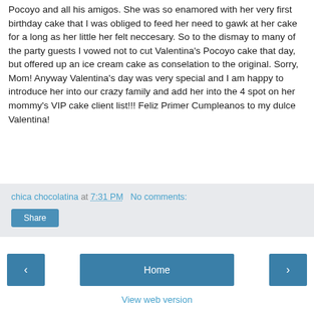Pocoyo and all his amigos. She was so enamored with her very first birthday cake that I was obliged to feed her need to gawk at her cake for a long as her little her felt neccesary. So to the dismay to many of the party guests I vowed not to cut Valentina's Pocoyo cake that day, but offered up an ice cream cake as conselation to the original. Sorry, Mom! Anyway Valentina's day was very special and I am happy to introduce her into our crazy family and add her into the 4 spot on her mommy's VIP cake client list!!! Feliz Primer Cumpleanos to my dulce Valentina!
chica chocolatina at 7:31 PM   No comments:
Share
Home
View web version